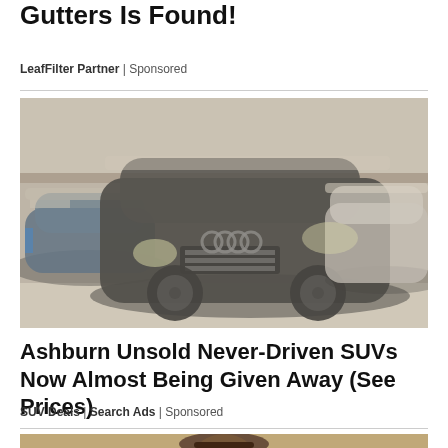Gutters Is Found!
LeafFilter Partner | Sponsored
[Figure (photo): Multiple dusty/snow-covered SUVs and luxury cars parked in a row inside a warehouse or covered lot. Visible vehicles include a blue BMW X5, a dark gray Audi Q7 in the foreground, and a silver car on the right.]
Ashburn Unsold Never-Driven SUVs Now Almost Being Given Away (See Prices)
SUV Deals | Search Ads | Sponsored
[Figure (photo): Partial view of a person wearing a hat, bottom portion visible, cropped at the bottom of the page.]